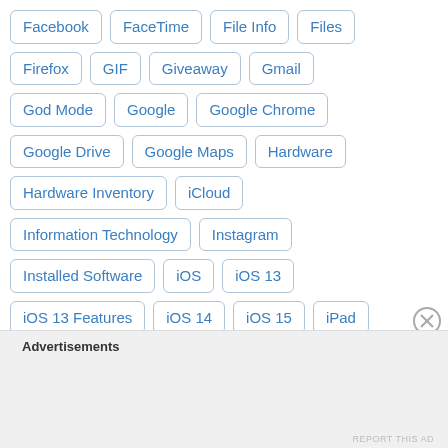Facebook
FaceTime
File Info
Files
Firefox
GIF
Giveaway
Gmail
God Mode
Google
Google Chrome
Google Drive
Google Maps
Hardware
Hardware Inventory
iCloud
Information Technology
Instagram
Installed Software
iOS
iOS 13
iOS 13 Features
iOS 14
iOS 15
iPad
iPhone
iPhone/iPad
IT
Junk Files
Advertisements
REPORT THIS AD